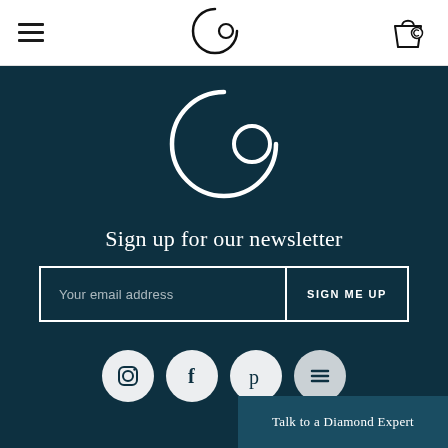[Figure (logo): Header navigation bar with hamburger menu icon on left, circular 'Co' logo in center, shopping bag icon on right]
[Figure (logo): Large white circular Co jewelry brand logo on dark teal background]
Sign up for our newsletter
Your email address
SIGN ME UP
[Figure (other): Social media icons row: Instagram, Facebook, Pinterest, and one more partially visible circular icon]
Talk to a Diamond Expert